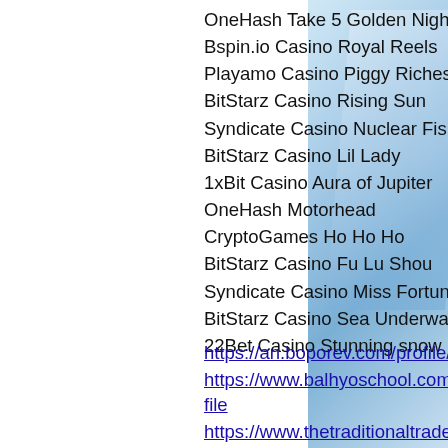OneHash Take 5 Golden Nights
Bspin.io Casino Royal Reels
Playamo Casino Piggy Riches
BitStarz Casino Rising Sun
Syndicate Casino Nuclear Fishin'
BitStarz Casino Lil Lady
1xBit Casino Aura of Jupiter
OneHash Motorhead
CryptoGames Ho Ho Ho
BitStarz Casino Fu Lu Shou
Syndicate Casino Miss Fortune
BitStarz Casino Sea Underwater Club
22Bet Casino Stunning snow
https://an.boporev.com/profile/tanyadegado3122204/profile https://www.balhyoschool.com/profile/kristalwueste12031034/profile https://www.thetraditionaltrade.com/profile/margerthurless7810871/profile https://www.yazmabecerileri.com/profile/gay...